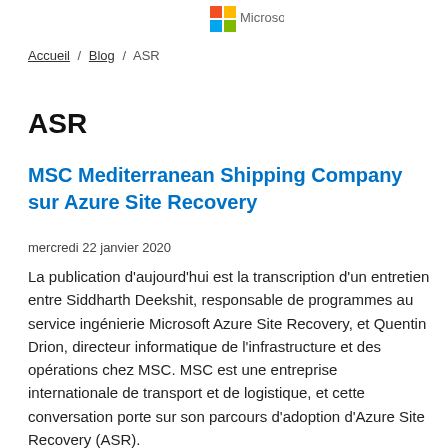[Figure (logo): Microsoft logo with colored squares (blue and yellow) at top center of page]
Accueil / Blog / ASR
ASR
MSC Mediterranean Shipping Company sur Azure Site Recovery
mercredi 22 janvier 2020
La publication d'aujourd'hui est la transcription d'un entretien entre Siddharth Deekshit, responsable de programmes au service ingénierie Microsoft Azure Site Recovery, et Quentin Drion, directeur informatique de l'infrastructure et des opérations chez MSC. MSC est une entreprise internationale de transport et de logistique, et cette conversation porte sur son parcours d'adoption d'Azure Site Recovery (ASR).